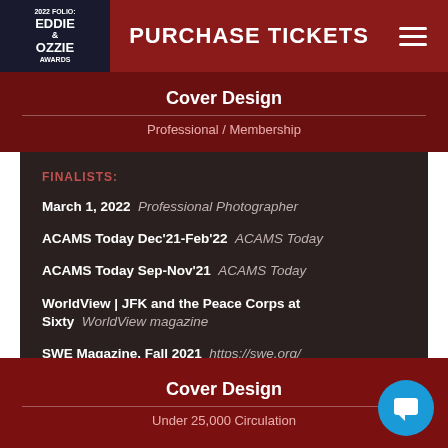PURCHASE TICKETS
Cover Design
Professional / Membership
FINALISTS:
March 1, 2022  Professional Photographer
ACAMS Today Dec'21-Feb'22  ACAMS Today
ACAMS Today Sep-Nov'21  ACAMS Today
WorldView | JFK and the Peace Corps at Sixty  WorldView magazine
SWE Magazine, Fall 2021  https://swe.org/
Cover Design
Under 25,000 Circulation